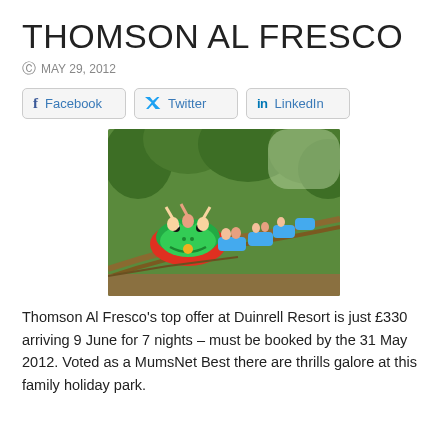THOMSON AL FRESCO
MAY 29, 2012
[Figure (other): Social sharing buttons: Facebook, Twitter, LinkedIn]
[Figure (photo): Children riding a frog-themed roller coaster through a wooded area at Duinrell Resort]
Thomson Al Fresco's top offer at Duinrell Resort is just £330 arriving 9 June for 7 nights – must be booked by the 31 May 2012. Voted as a MumsNet Best there are thrills galore at this family holiday park.